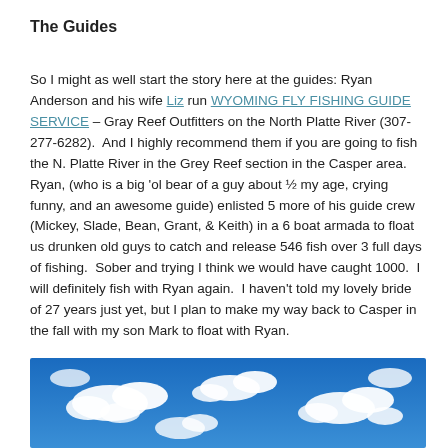The Guides
So I might as well start the story here at the guides: Ryan Anderson and his wife Liz run WYOMING FLY FISHING GUIDE SERVICE – Gray Reef Outfitters on the North Platte River (307-277-6282).  And I highly recommend them if you are going to fish the N. Platte River in the Grey Reef section in the Casper area.  Ryan, (who is a big 'ol bear of a guy about ½ my age, crying funny, and an awesome guide) enlisted 5 more of his guide crew (Mickey, Slade, Bean, Grant, & Keith) in a 6 boat armada to float us drunken old guys to catch and release 546 fish over 3 full days of fishing.  Sober and trying I think we would have caught 1000.  I will definitely fish with Ryan again.  I haven't told my lovely bride of 27 years just yet, but I plan to make my way back to Casper in the fall with my son Mark to float with Ryan.
[Figure (photo): Blue sky with scattered white clouds]